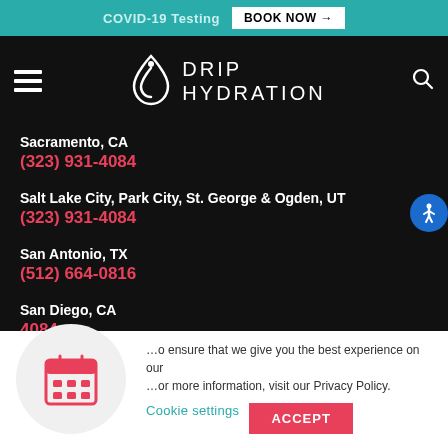COVID-19 Testing  BOOK NOW →
[Figure (logo): Drip Hydration logo with droplet icon and text DRIP HYDRATION]
Sacramento, CA
(323) 931-4084
Salt Lake City, Park City, St. George & Ogden, UT
(323) 931-4084
San Antonio, TX
(512) 664-0816
San Diego, CA
(323) 931-4084
…o ensure that we give you the best experience on our …or more information, visit our Privacy Policy.
Cookie settings   ACCEPT